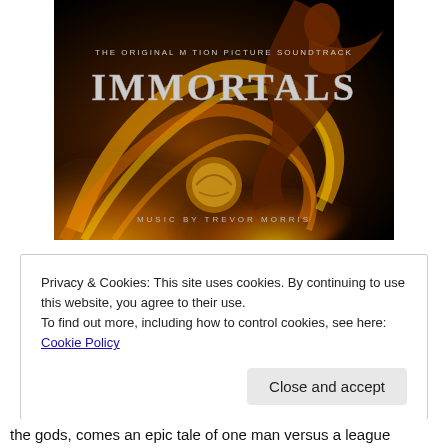[Figure (photo): Album cover for Immortals: The Original Motion Picture Soundtrack. Dark background with a muscular warrior figure surrounded by swirling golden fire. Text reads 'THE ORIGINAL MOTION PICTURE SOUNDTRACK', 'IMMORTALS' in large stylized letters, and 'MUSIC BY TREVOR MORRIS' at the bottom.]
Privacy & Cookies: This site uses cookies. By continuing to use this website, you agree to their use.
To find out more, including how to control cookies, see here: Cookie Policy
Close and accept
the gods, comes an epic tale of one man versus a league